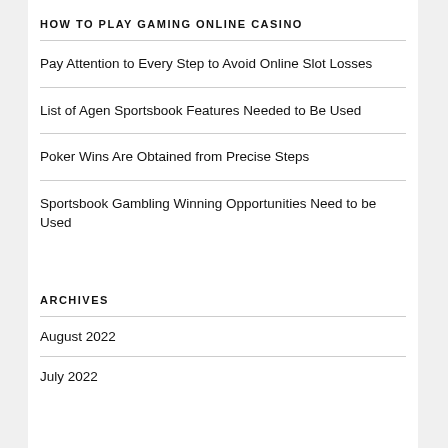HOW TO PLAY GAMING ONLINE CASINO
Pay Attention to Every Step to Avoid Online Slot Losses
List of Agen Sportsbook Features Needed to Be Used
Poker Wins Are Obtained from Precise Steps
Sportsbook Gambling Winning Opportunities Need to be Used
ARCHIVES
August 2022
July 2022